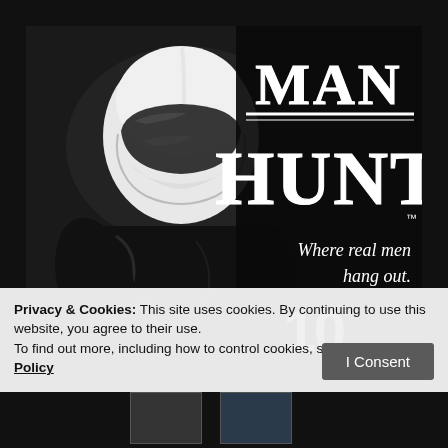[Figure (photo): Person wearing a white full-face motorcycle helmet and black leather jacket on a dark background. On the right side of the image, the brand name MAN HUNT is displayed in large bold serif letters with double horizontal rules between the words, followed by trademark symbol, italic tagline 'Where real men hang out.' and the number '10_' in large white font.]
Privacy & Cookies: This site uses cookies. By continuing to use this website, you agree to their use.
To find out more, including how to control cookies, see here: Cookie Policy
I Consent